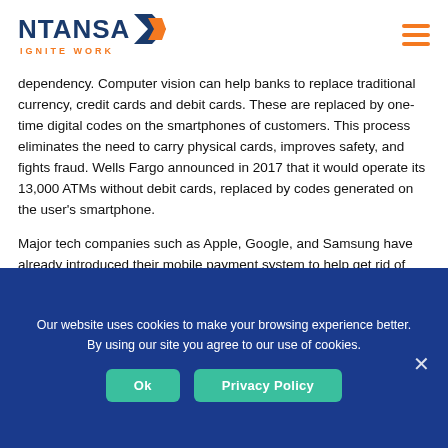NTANSA IGNITE WORK
dependency. Computer vision can help banks to replace traditional currency, credit cards and debit cards. These are replaced by one-time digital codes on the smartphones of customers. This process eliminates the need to carry physical cards, improves safety, and fights fraud. Wells Fargo announced in 2017 that it would operate its 13,000 ATMs without debit cards, replaced by codes generated on the user’s smartphone.
Major tech companies such as Apple, Google, and Samsung have already introduced their mobile payment system to help get rid of physical card carriage. They
Our website uses cookies to make your browsing experience better. By using our site you agree to our use of cookies.